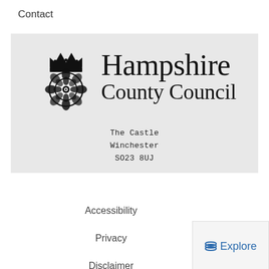Contact
[Figure (logo): Hampshire County Council logo with rose/crown crest on left and text 'Hampshire County Council' on right, address below: The Castle, Winchester, SO23 8UJ]
Accessibility
Privacy
Disclaimer
[Figure (other): Explore button with layered icon in blue]